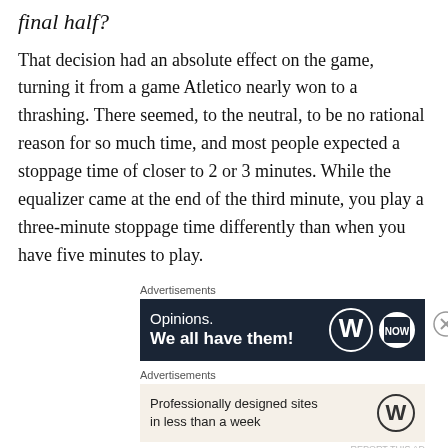final half?
That decision had an absolute effect on the game, turning it from a game Atletico nearly won to a thrashing. There seemed, to the neutral, to be no rational reason for so much time, and most people expected a stoppage time of closer to 2 or 3 minutes. While the equalizer came at the end of the third minute, you play a three-minute stoppage time differently than when you have five minutes to play.
[Figure (other): Dark advertisement banner: 'Opinions. We all have them!' with WordPress and NOWW logos on dark navy background, with a close (X) button]
[Figure (other): Light beige advertisement banner: 'Professionally designed sites in less than a week' with WordPress logo]